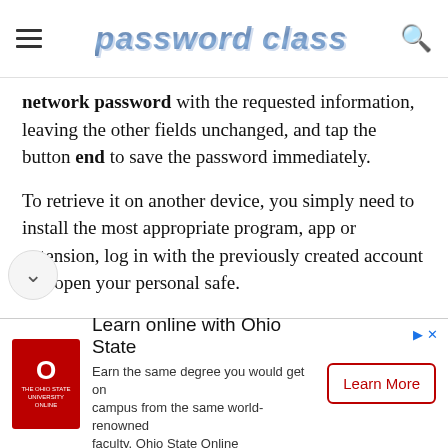password class
network password with the requested information, leaving the other fields unchanged, and tap the button end to save the password immediately.
To retrieve it on another device, you simply need to install the most appropriate program, app or extension, log in with the previously created account and open your personal safe.
Disable automatic renewal of 1Password
[Figure (infographic): Advertisement banner for Ohio State Online. Features Ohio State University logo (red square with O), text 'Learn online with Ohio State', description 'Earn the same degree you would get on campus from the same world-renowned faculty. Ohio State Online', and a 'Learn More' button.]